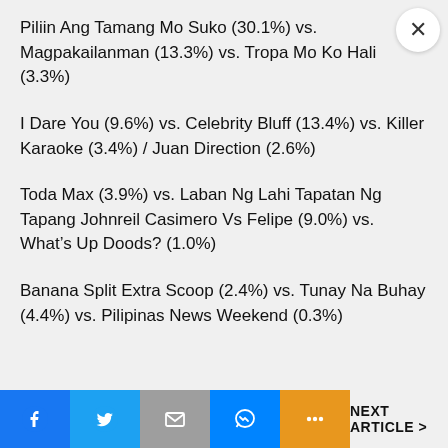Piliin Ang Tamang Mo Suko (30.1%) vs. Magpakailanman (13.3%) vs. Tropa Mo Ko Hali (3.3%)
I Dare You (9.6%) vs. Celebrity Bluff (13.4%) vs. Killer Karaoke (3.4%) / Juan Direction (2.6%)
Toda Max (3.9%) vs. Laban Ng Lahi Tapatan Ng Tapang Johnreil Casimero Vs Felipe (9.0%) vs. What’s Up Doods? (1.0%)
Banana Split Extra Scoop (2.4%) vs. Tunay Na Buhay (4.4%) vs. Pilipinas News Weekend (0.3%)
NEXT ARTICLE >